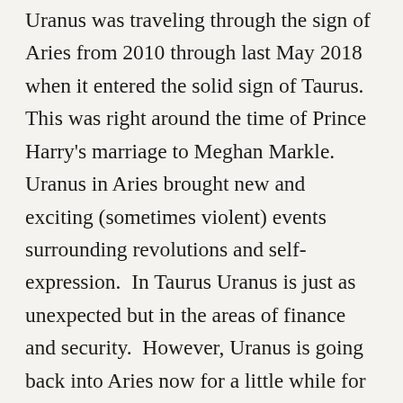Uranus was traveling through the sign of Aries from 2010 through last May 2018 when it entered the solid sign of Taurus.  This was right around the time of Prince Harry's marriage to Meghan Markle.  Uranus in Aries brought new and exciting (sometimes violent) events surrounding revolutions and self-expression.  In Taurus Uranus is just as unexpected but in the areas of finance and security.  However, Uranus is going back into Aries now for a little while for some more surprise eruptions and rebellions.  Uranus is retrograde so it is going to be affecting or reigniting old battles that had quieted down when Uranus entered Taurus.  From now through March 5, 2019 Uranus will bring some sudden changes, unexpected turn of events and